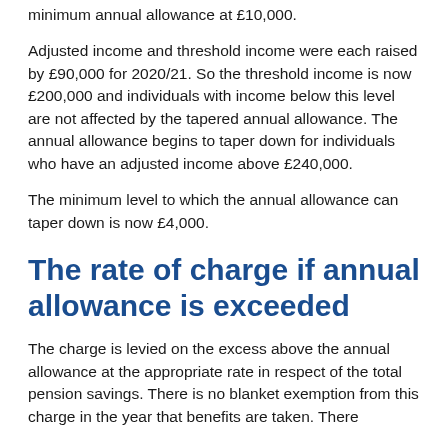minimum annual allowance at £10,000.
Adjusted income and threshold income were each raised by £90,000 for 2020/21. So the threshold income is now £200,000 and individuals with income below this level are not affected by the tapered annual allowance. The annual allowance begins to taper down for individuals who have an adjusted income above £240,000.
The minimum level to which the annual allowance can taper down is now £4,000.
The rate of charge if annual allowance is exceeded
The charge is levied on the excess above the annual allowance at the appropriate rate in respect of the total pension savings. There is no blanket exemption from this charge in the year that benefits are taken. There